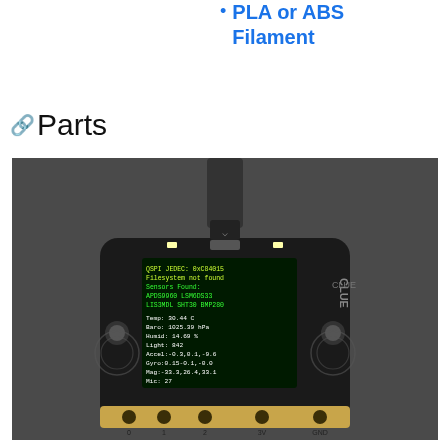PLA or ABS Filament
Parts
[Figure (photo): Photo of an Adafruit CLUE microcontroller board connected via USB cable, displaying sensor data on its small OLED screen including QSPI JEDEC, filesystem not found message, sensors found (APDS9960, LSM6DS33, LIS3MDL, SHT30, BMP280), and readings for Temp, Baro, Humid, Light, Accel, Gyro, Mag, and Mic. The board has gold edge connectors labeled 0, 1, 2, 3V, GND.]